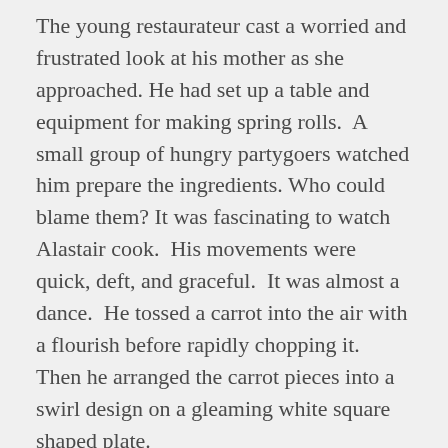The young restaurateur cast a worried and frustrated look at his mother as she approached. He had set up a table and equipment for making spring rolls.  A small group of hungry partygoers watched him prepare the ingredients. Who could blame them? It was fascinating to watch Alastair cook.  His movements were quick, deft, and graceful.  It was almost a dance.  He tossed a carrot into the air with a flourish before rapidly chopping it.  Then he arranged the carrot pieces into a swirl design on a gleaming white square shaped plate.
Arabella spotted her son and called out to him. “Alastair I thought you might need more ginger roots too…”